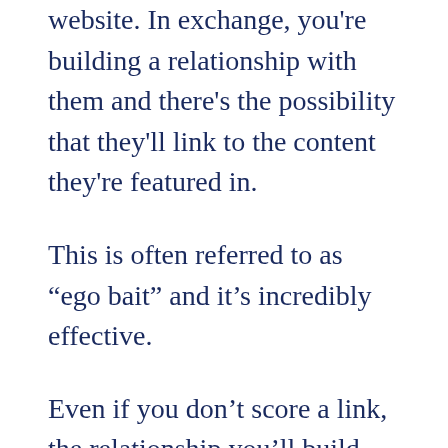website. In exchange, you're building a relationship with them and there's the possibility that they'll link to the content they're featured in.
This is often referred to as “ego bait” and it’s incredibly effective.
Even if you don’t score a link, the relationship you’ll build can lead to something else in the future.